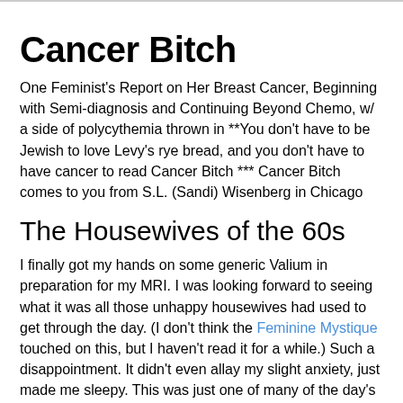Cancer Bitch
One Feminist's Report on Her Breast Cancer, Beginning with Semi-diagnosis and Continuing Beyond Chemo, w/ a side of polycythemia thrown in **You don't have to be Jewish to love Levy's rye bread, and you don't have to have cancer to read Cancer Bitch *** Cancer Bitch comes to you from S.L. (Sandi) Wisenberg in Chicago
The Housewives of the 60s
I finally got my hands on some generic Valium in preparation for my MRI. I was looking forward to seeing what it was all those unhappy housewives had used to get through the day. (I don't think the Feminine Mystique touched on this, but I haven't read it for a while.) Such a disappointment. It didn't even allay my slight anxiety, just made me sleepy. This was just one of many of the day's surprises and my